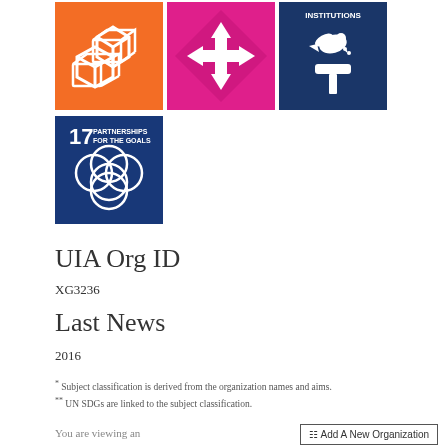[Figure (illustration): Three UN SDG icons in top row: SDG 9 Industry Innovation (orange with boxes icon), SDG 10 or 16 Reduced Inequalities (magenta with arrows icon), SDG 16 Peace Justice Institutions (dark navy with dove and gavel icon labeled INSTITUTIONS)]
[Figure (illustration): SDG 17 Partnerships for the Goals tile (dark navy blue with circular flower/rings design and text '17 PARTNERSHIPS FOR THE GOALS')]
UIA Org ID
XG3236
Last News
2016
* Subject classification is derived from the organization names and aims.
** UN SDGs are linked to the subject classification.
You are viewing an
Add A New Organization